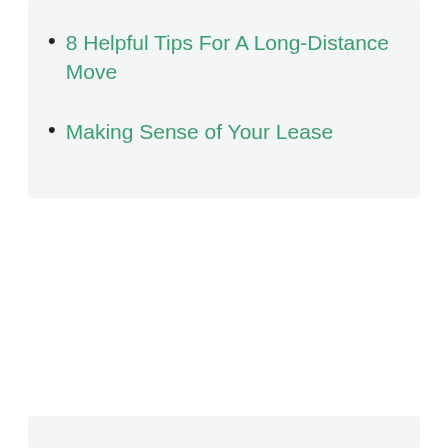8 Helpful Tips For A Long-Distance Move
Making Sense of Your Lease